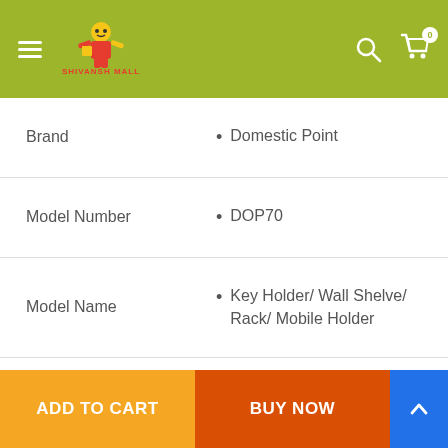[Figure (screenshot): Shivansh Mall e-commerce website header with green background, hamburger menu, logo, search icon and cart icon]
| Attribute | Value |
| --- | --- |
| Brand | Domestic Point |
| Model Number | DOP70 |
| Model Name | Key Holder/ Wall Shelve/ Rack/ Mobile Holder |
| Color | Brown |
| Material | MDF (Medium Density Fiber) |
ADD TO CART
BUY NOW